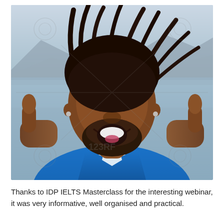[Figure (photo): A smiling Black man with dreadlocks giving two thumbs up, wearing a blue shirt, photographed outdoors with a lake and mountains in the background. Stock photo with 123RF watermark.]
Thanks to IDP IELTS Masterclass for the interesting webinar, it was very informative, well organised and practical.